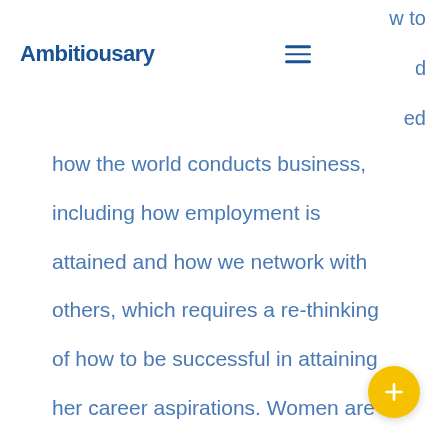Ambitionary
w to
d
ed
how the world conducts business, including how employment is attained and how we network with others, which requires a re-thinking of how to be successful in attaining her career aspirations. Women are